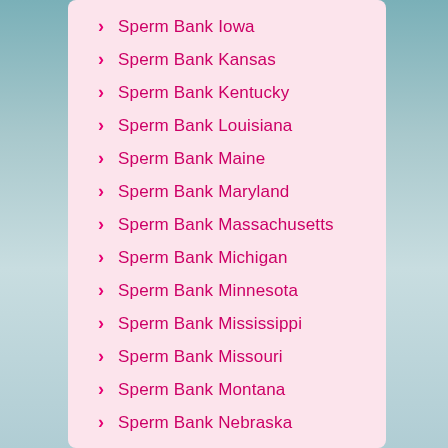Sperm Bank Iowa
Sperm Bank Kansas
Sperm Bank Kentucky
Sperm Bank Louisiana
Sperm Bank Maine
Sperm Bank Maryland
Sperm Bank Massachusetts
Sperm Bank Michigan
Sperm Bank Minnesota
Sperm Bank Mississippi
Sperm Bank Missouri
Sperm Bank Montana
Sperm Bank Nebraska
Sperm Bank Nevada